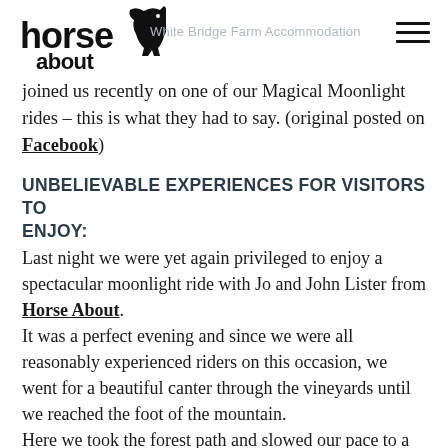horse about – White Bridge Farm Accommodation
joined us recently on one of our Magical Moonlight rides – this is what they had to say. (original posted on Facebook)
UNBELIEVABLE EXPERIENCES FOR VISITORS TO ENJOY:
Last night we were yet again privileged to enjoy a spectacular moonlight ride with Jo and John Lister from Horse About.
It was a perfect evening and since we were all reasonably experienced riders on this occasion, we went for a beautiful canter through the vineyards until we reached the foot of the mountain.
Here we took the forest path and slowed our pace to a stead walk in single file as it was by now pretty dark